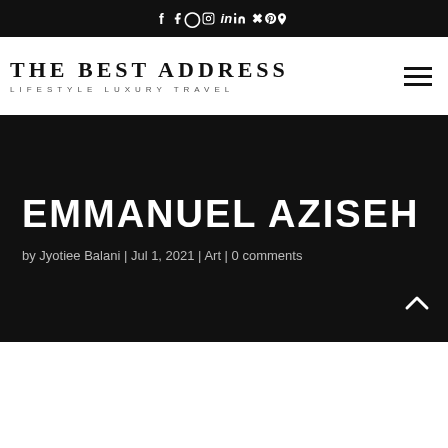f  IG  in  P
[Figure (logo): The Best Address logo with tagline LIFESTYLE LUXURY TRAVEL]
EMMANUEL AZISEH
by Jyotiee Balani | Jul 1, 2021 | Art | 0 comments